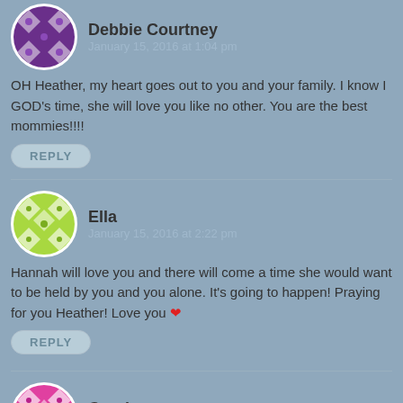[Figure (illustration): Purple geometric avatar for Debbie Courtney]
Debbie Courtney
OH Heather, my heart goes out to you and your family. I know I GOD's time, she will love you like no other. You are the best mommies!!!!
REPLY
[Figure (illustration): Green geometric avatar for Ella]
Ella
Hannah will love you and there will come a time she would want to be held by you and you alone. It's going to happen! Praying for you Heather! Love you ❤
REPLY
[Figure (illustration): Pink/magenta geometric avatar for Carolyn]
Carolyn
Oh love! My heart breaks for you. So much love and so many prayers for you and yours.